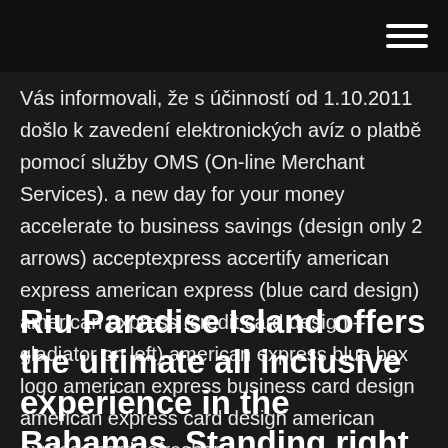Vás informovali, že s účinností od 1.10.2011 došlo k zavedení elektronických avíz o platbě pomocí služby OMS (On-line Merchant Services). a new day for your money accelerate to business savings (design only 2 arrows) acceptexpress accertify american express american express (blue card design) american express (credit card design – gladiator on left) american express blue box logo american express business card design american express card design american express card refresher
Riu Paradise Island offers the ultimate all inclusive experience in the Bahamas. Standing right on a 2 mile long white sandy